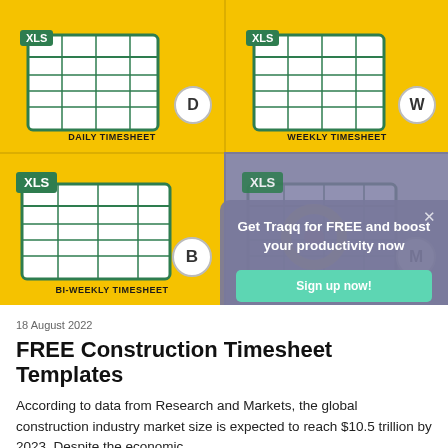[Figure (screenshot): Four timesheet template panels on yellow background: Daily Timesheet (D), Weekly Timesheet (W), Bi-Weekly Timesheet (B), Monthly Timesheet (M), each with XLS spreadsheet icon. A popup overlay on the right side reads 'Get Traqq for FREE and boost your productivity now' with a 'Sign up now!' button.]
18 August 2022
FREE Construction Timesheet Templates
According to data from Research and Markets, the global construction industry market size is expected to reach $10.5 trillion by 2023. Despite the economic